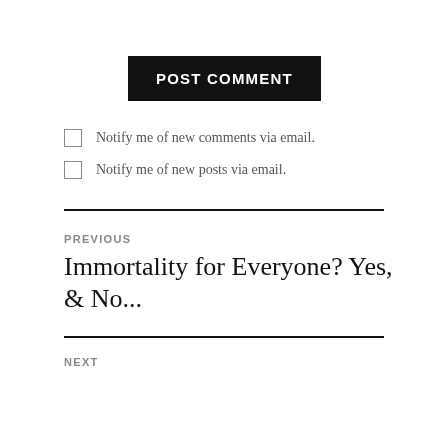POST COMMENT
Notify me of new comments via email.
Notify me of new posts via email.
PREVIOUS
Immortality for Everyone? Yes, & No...
NEXT